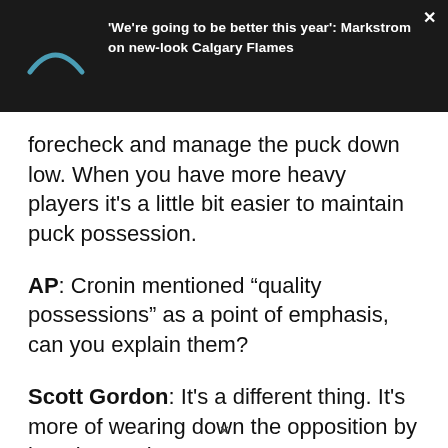[Figure (screenshot): Dark header bar with a teal arc/logo on the left and white bold headline text on the right: ''We're going to be better this year': Markstrom on new-look Calgary Flames'. A white X close button is in the top-right corner.]
forecheck and manage the puck down low. When you have more heavy players it's a little bit easier to maintain puck possession.
AP: Cronin mentioned “quality possessions” as a point of emphasis, can you explain them?
Scott Gordon: It's a different thing. It's more of wearing down the opposition by keeping puck